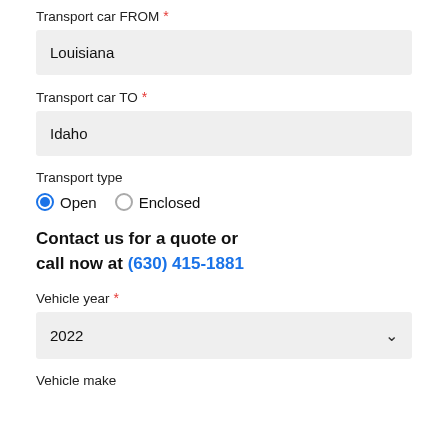Transport car FROM *
Louisiana
Transport car TO *
Idaho
Transport type
Open (selected) Enclosed
Contact us for a quote or call now at (630) 415-1881
Vehicle year *
2022
Vehicle make